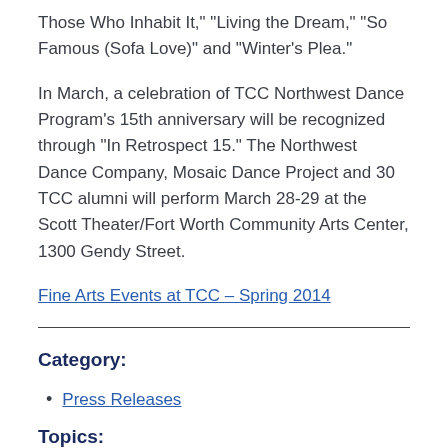Those Who Inhabit It,” “Living the Dream,” “So Famous (Sofa Love)” and “Winter’s Plea.”
In March, a celebration of TCC Northwest Dance Program’s 15th anniversary will be recognized through “In Retrospect 15.” The Northwest Dance Company, Mosaic Dance Project and 30 TCC alumni will perform March 28-29 at the Scott Theater/Fort Worth Community Arts Center, 1300 Gendy Street.
Fine Arts Events at TCC – Spring 2014
Category:
Press Releases
Topics: